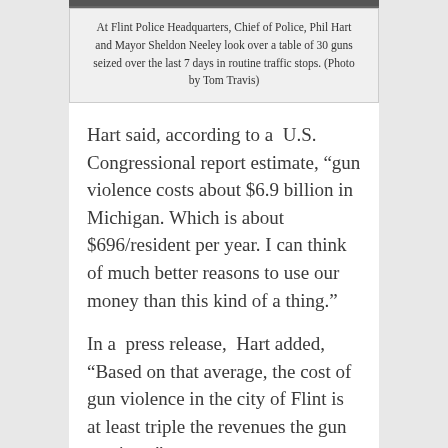[Figure (photo): Top portion of a photo showing people at Flint Police Headquarters]
At Flint Police Headquarters, Chief of Police, Phil Hart and Mayor Sheldon Neeley look over a table of 30 guns seized over the last 7 days in routine traffic stops. (Photo by Tom Travis)
Hart said, according to a U.S. Congressional report estimate, “gun violence costs about $6.9 billion in Michigan. Which is about $696/resident per year. I can think of much better reasons to use our money than this kind of a thing.”
In a press release, Hart added, “Based on that average, the cost of gun violence in the city of Flint is at least triple the revenues the gun auctions.”
Hart also noted that the Police